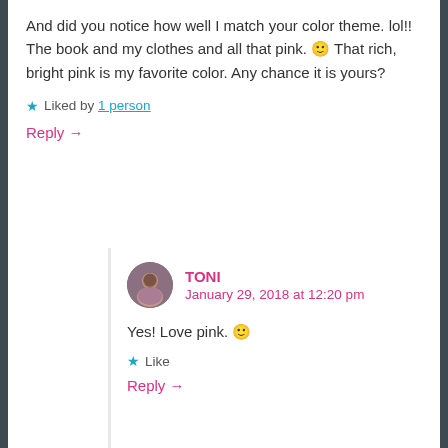And did you notice how well I match your color theme. lol!! The book and my clothes and all that pink. 🙂 That rich, bright pink is my favorite color. Any chance it is yours?
Liked by 1 person
Reply →
TONI
January 29, 2018 at 12:20 pm
Yes! Love pink. 🙂
Like
Reply →